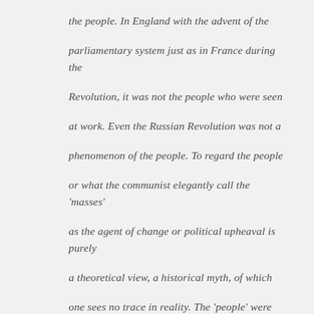the people.  In England with the advent of the parliamentary system just as in France during the Revolution, it was not the people who were seen at work.  Even the Russian Revolution was not a phenomenon of the people.  To regard the people or what the communist elegantly call the 'masses' as the agent of change or political upheaval is purely a theoretical view, a historical myth, of which one sees no trace in reality.  The 'people' were